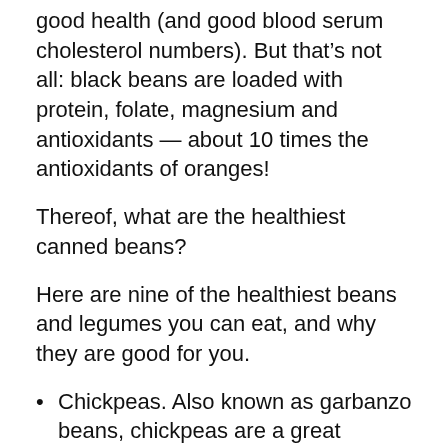good health (and good blood serum cholesterol numbers). But that’s not all: black beans are loaded with protein, folate, magnesium and antioxidants — about 10 times the antioxidants of oranges!
Thereof, what are the healthiest canned beans?
Here are nine of the healthiest beans and legumes you can eat, and why they are good for you.
Chickpeas. Also known as garbanzo beans, chickpeas are a great source of fiber and protein.
Lentils.